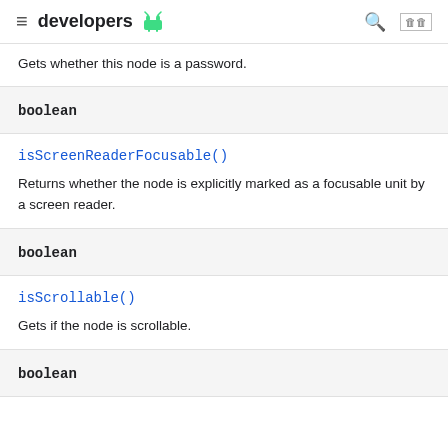developers
Gets whether this node is a password.
boolean
isScreenReaderFocusable()
Returns whether the node is explicitly marked as a focusable unit by a screen reader.
boolean
isScrollable()
Gets if the node is scrollable.
boolean